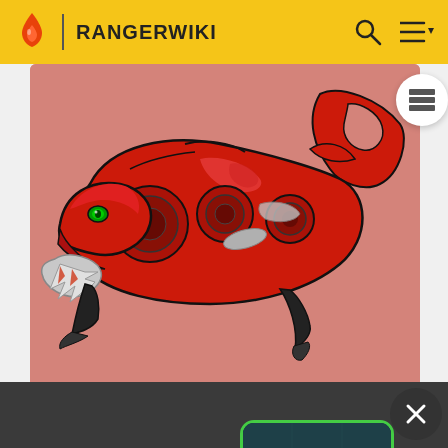RANGERWIKI
[Figure (illustration): Cheetah Beast Blaster — a red and black sci-fi blaster weapon shaped like a cheetah, shown in a leaping/crouching pose with green eye accent, on a salmon/pink background.]
Cheetah Beast Blaster
[Figure (screenshot): Small thumbnail image showing a red vehicle or robot on a teal/dark background with a green rounded-rectangle border.]